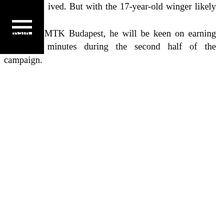[Figure (other): Black rectangle in top-left corner containing a white hamburger menu icon (three horizontal lines)]
ived. But with the 17-year-old winger likely to remain at MTK Budapest, he will be keen on earning first-team minutes during the second half of the campaign.